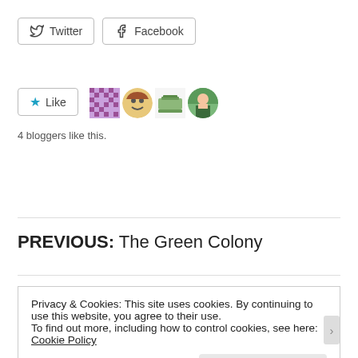[Figure (other): Twitter and Facebook share buttons with icons]
[Figure (other): Like button with star icon and 4 blogger avatars]
4 bloggers like this.
PREVIOUS: The Green Colony
Privacy & Cookies: This site uses cookies. By continuing to use this website, you agree to their use.
To find out more, including how to control cookies, see here: Cookie Policy
Close and accept